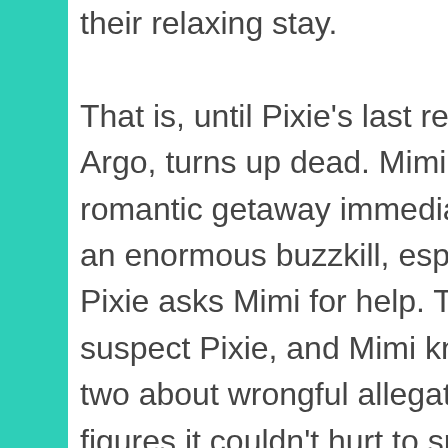their relaxing stay.

That is, until Pixie's last renter, Davis D. Argo, turns up dead. Mimi and Josh's romantic getaway immediately turns into an enormous buzzkill, especially when Pixie asks Mimi for help. The police suspect Pixie, and Mimi knows a thing or two about wrongful allegations. Mimi figures it couldn't hurt to snoop a little since she's already there, and soon discovers that a valuable item is missing. Except Pixie isn't the only one in the neighborhood who has been